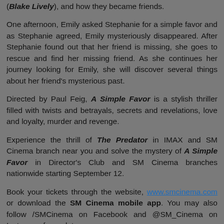(Blake Lively), and how they became friends.
One afternoon, Emily asked Stephanie for a simple favor and as Stephanie agreed, Emily mysteriously disappeared. After Stephanie found out that her friend is missing, she goes to rescue and find her missing friend. As she continues her journey looking for Emily, she will discover several things about her friend's mysterious past.
Directed by Paul Feig, A Simple Favor is a stylish thriller filled with twists and betrayals, secrets and revelations, love and loyalty, murder and revenge.
Experience the thrill of The Predator in IMAX and SM Cinema branch near you and solve the mystery of A Simple Favor in Director's Club and SM Cinema branches nationwide starting September 12.
Book your tickets through the website, www.smcinema.com or download the SM Cinema mobile app. You may also follow /SMCinema on Facebook and @SM_Cinema on Instagram for updates.